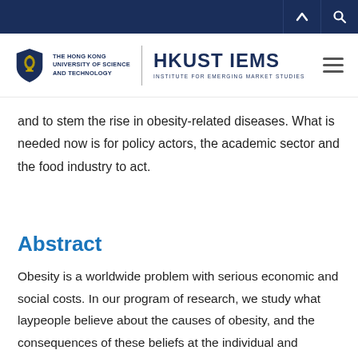THE HONG KONG UNIVERSITY OF SCIENCE AND TECHNOLOGY | HKUST IEMS INSTITUTE FOR EMERGING MARKET STUDIES
and to stem the rise in obesity-related diseases. What is needed now is for policy actors, the academic sector and the food industry to act.
Abstract
Obesity is a worldwide problem with serious economic and social costs. In our program of research, we study what laypeople believe about the causes of obesity, and the consequences of these beliefs at the individual and societal levels. In contrast to medical research which agrees that a poor